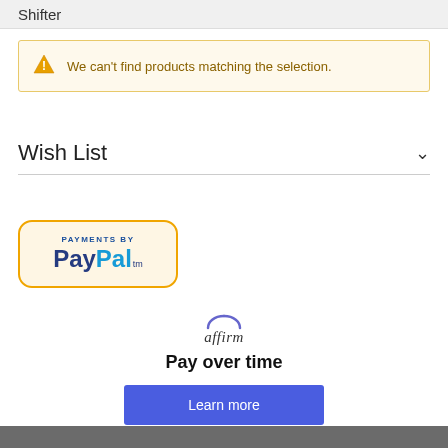Shifter
We can't find products matching the selection.
Wish List
[Figure (logo): Payments by PayPal badge with golden border on cream background]
[Figure (logo): Affirm logo with arc above text]
Pay over time
Learn more